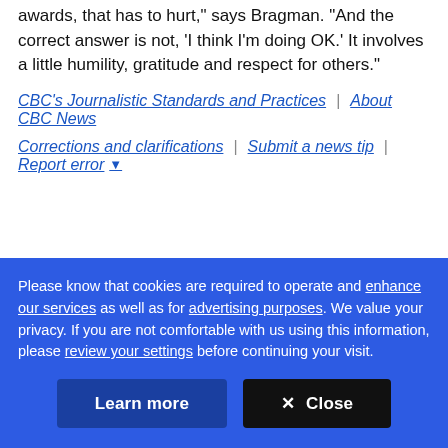"When he was booed by his peers at the Billboard awards, that has to hurt," says Bragman. "And the correct answer is not, 'I think I'm doing OK.' It involves a little humility, gratitude and respect for others."
CBC's Journalistic Standards and Practices | About CBC News
Corrections and clarifications | Submit a news tip | Report error
Please know that cookies are required to operate and enhance our services as well as for advertising purposes. We value your privacy. If you are not comfortable with us using this information, please review your settings before continuing your visit.